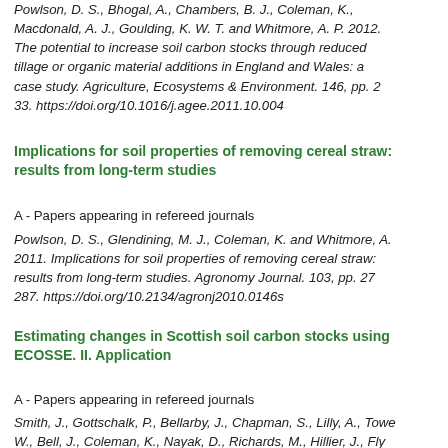Powlson, D. S., Bhogal, A., Chambers, B. J., Coleman, K., Macdonald, A. J., Goulding, K. W. T. and Whitmore, A. P. 2012. The potential to increase soil carbon stocks through reduced tillage or organic material additions in England and Wales: a case study. Agriculture, Ecosystems & Environment. 146, pp. 2-33. https://doi.org/10.1016/j.agee.2011.10.004
Implications for soil properties of removing cereal straw: results from long-term studies
A - Papers appearing in refereed journals
Powlson, D. S., Glendining, M. J., Coleman, K. and Whitmore, A. 2011. Implications for soil properties of removing cereal straw: results from long-term studies. Agronomy Journal. 103, pp. 27-287. https://doi.org/10.2134/agronj2010.0146s
Estimating changes in Scottish soil carbon stocks using ECOSSE. II. Application
A - Papers appearing in refereed journals
Smith, J., Gottschalk, P., Bellarby, J., Chapman, S., Lilly, A., Towe W., Bell, J., Coleman, K., Nayak, D., Richards, M., Hillier, J., Fly H., Wattenbach, M., Aitkenhead, M., Yeluripati, J., Farmer...